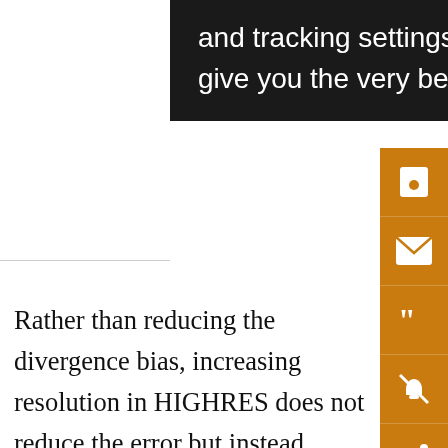[Figure (screenshot): Black tooltip/cookie consent overlay box with white text reading 'and tracking settings to store information that help give you the very best browsing experience.']
Rather than reducing the divergence bias, increasing resolution in HIGHRES does not reduce the error but instead introduces additional overactivity in the storm-track regions (Fig. 8c). The experiment STOCH increases the divergence everywhere. This leads to a reduction in error over regions with too much convergent activity (e.g., over the poles) but increases the error in the regions characterized by too much divergence such as the Southern Hemispheric midlatitudes. Upper-level divergence in the tropics is greatly increased, resulting in an improvement over the tropical Atlantic and the South American and African regions, but a climate change...